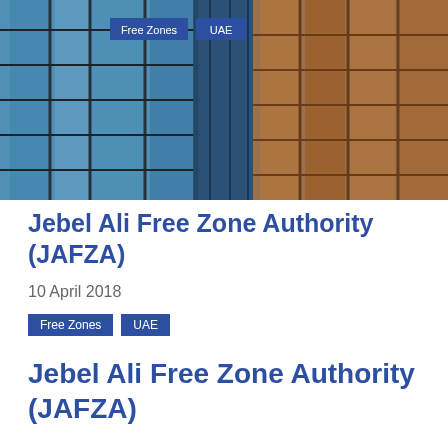[Figure (photo): Upward-looking view of modern glass skyscrapers with blue tinted glass and orange/metallic structural elements against a blue sky.]
Free Zones  UAE
Jebel Ali Free Zone Authority (JAFZA)
10 April 2018
Free Zones  UAE
Jebel Ali Free Zone Authority (JAFZA)